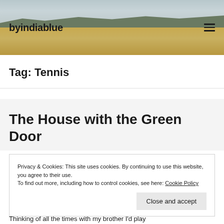byindiablue
Tag: Tennis
The House with the Green Door
Privacy & Cookies: This site uses cookies. By continuing to use this website, you agree to their use.
To find out more, including how to control cookies, see here: Cookie Policy
Close and accept
Thinking of all the times with my brother I'd play